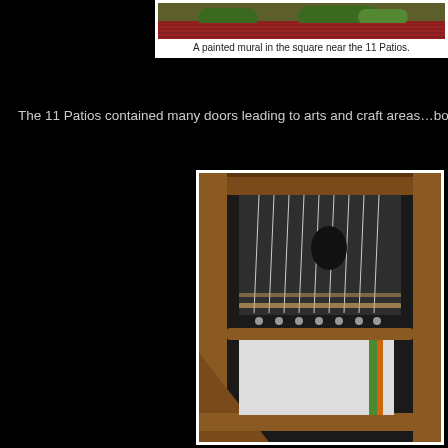[Figure (photo): Top portion of a photo showing a painted mural in a square near the 11 Patios, with red roof and green foliage visible]
A painted mural in the square near the 11 Patios.
The 11 Patios contained many doors leading to arts and craft areas…both retail a
[Figure (photo): A large traditional wooden loom being operated, showing the wooden frame, heddles, strings, and woven fabric with green and orange stripes on white cloth]